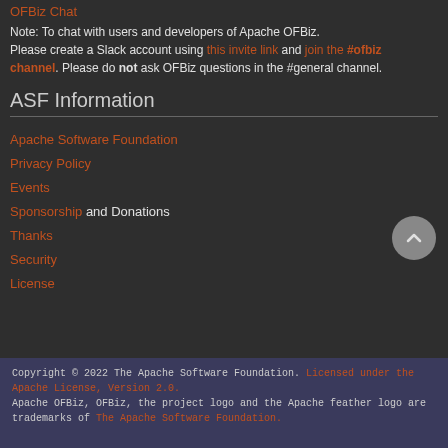OFBiz Chat
Note: To chat with users and developers of Apache OFBiz. Please create a Slack account using this invite link and join the #ofbiz channel. Please do not ask OFBiz questions in the #general channel.
ASF Information
Apache Software Foundation
Privacy Policy
Events
Sponsorship and Donations
Thanks
Security
License
Copyright © 2022 The Apache Software Foundation. Licensed under the Apache License, Version 2.0. Apache OFBiz, OFBiz, the project logo and the Apache feather logo are trademarks of The Apache Software Foundation.